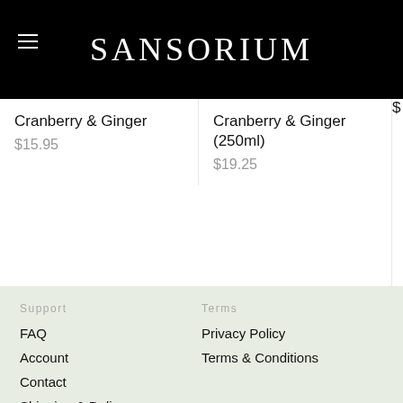SANSORIUM
Cranberry & Ginger
$15.95
Cranberry & Ginger (250ml)
$19.25
Support
Terms
FAQ
Account
Contact
Shipping & Delivery
Refunds & Exchanges
Privacy Policy
Terms & Conditions